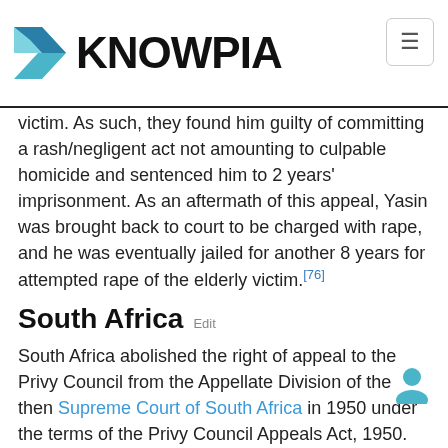KNOWPIA
victim. As such, they found him guilty of committing a rash/negligent act not amounting to culpable homicide and sentenced him to 2 years' imprisonment. As an aftermath of this appeal, Yasin was brought back to court to be charged with rape, and he was eventually jailed for another 8 years for attempted rape of the elderly victim.[76]
South Africa  Edit
South Africa abolished the right of appeal to the Privy Council from the Appellate Division of the then Supreme Court of South Africa in 1950 under the terms of the Privy Council Appeals Act, 1950.
See also  Edit